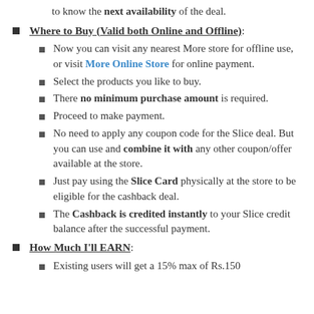to know the next availability of the deal.
Where to Buy (Valid both Online and Offline):
Now you can visit any nearest More store for offline use, or visit More Online Store for online payment.
Select the products you like to buy.
There no minimum purchase amount is required.
Proceed to make payment.
No need to apply any coupon code for the Slice deal. But you can use and combine it with any other coupon/offer available at the store.
Just pay using the Slice Card physically at the store to be eligible for the cashback deal.
The Cashback is credited instantly to your Slice credit balance after the successful payment.
How Much I'll EARN:
Existing users will get a 15% max of Rs.150